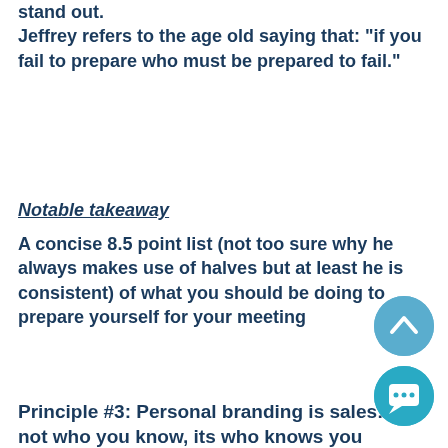stand out.
Jeffrey refers to the age old saying that: "if you fail to prepare who must be prepared to fail."
Notable takeaway
A concise 8.5 point list (not too sure why he always makes use of halves but at least he is consistent) of what you should be doing to prepare yourself for your meeting
Principle #3: Personal branding is sales: Its not who you know, its who knows you
This theme of personal branding is something that I have read and re-read from multiple well known personalities including the likes of Brian Tracy,  Gary Veynerchuck and Tony Robbins. First impressions count and this day and age